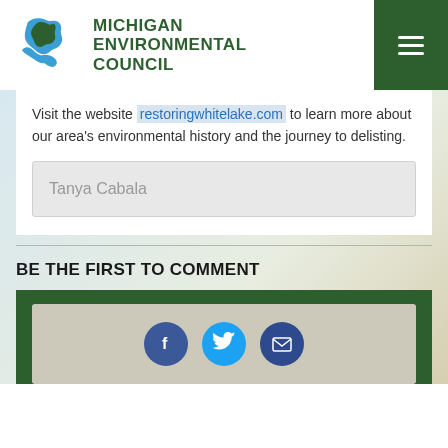[Figure (logo): Michigan Environmental Council logo with Great Lakes map icon and green bold text]
Visit the website restoringwhitelake.com to learn more about our area's environmental history and the journey to delisting.
Tanya Cabala
BE THE FIRST TO COMMENT
[Figure (infographic): Social sharing icons: Facebook (dark blue circle with f), Twitter (cyan circle with bird), Email (dark blue circle with envelope)]